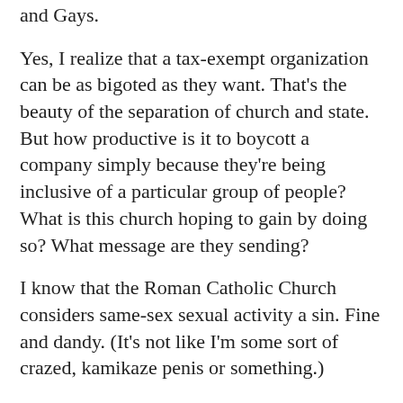and Gays.
Yes, I realize that a tax-exempt organization can be as bigoted as they want. That’s the beauty of the separation of church and state. But how productive is it to boycott a company simply because they’re being inclusive of a particular group of people? What is this church hoping to gain by doing so? What message are they sending?
I know that the Roman Catholic Church considers same-sex sexual activity a sin. Fine and dandy. (It’s not like I’m some sort of crazed, kamikaze penis or something.)
But they also say that gay people should not be discriminated against and that they’re even welcome in religious orders.
When I saw the reason for this church’s boycott, it was as if they were saying, “We will not support this company because they accommodate people like you and that’s wrong simply because of who you are.” That was the message they were sending, loud and clear.